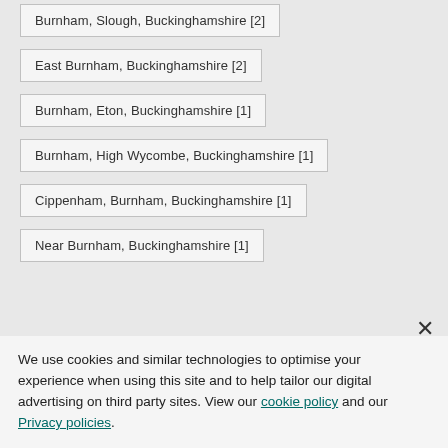Burnham, Slough, Buckinghamshire [2]
East Burnham, Buckinghamshire [2]
Burnham, Eton, Buckinghamshire [1]
Burnham, High Wycombe, Buckinghamshire [1]
Cippenham, Burnham, Buckinghamshire [1]
Near Burnham, Buckinghamshire [1]
We use cookies and similar technologies to optimise your experience when using this site and to help tailor our digital advertising on third party sites. View our cookie policy and our Privacy policies.